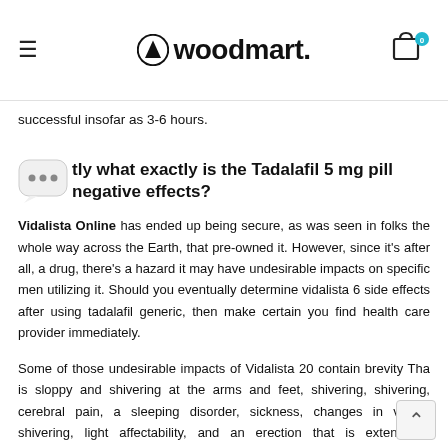woodmart.
successful insofar as 3-6 hours.
...tly what exactly is the Tadalafil 5 mg pill negative effects?
Vidalista Online has ended up being secure, as was seen in folks the whole way across the Earth, that pre-owned it. However, since it's after all, a drug, there's a hazard it may have undesirable impacts on specific men utilizing it. Should you eventually determine vidalista 60 side effects after using tadalafil generic, then make certain you find health care provider immediately.
Some of those undesirable impacts of Vidalista 20 contain brevity That is sloppy and shivering at the arms and feet, shivering, shivering, cerebral pain, a sleeping disorder, sickness, changes in vision, shivering, light affectability, and an erection that is extensive and weakening, queasiness and consuming.